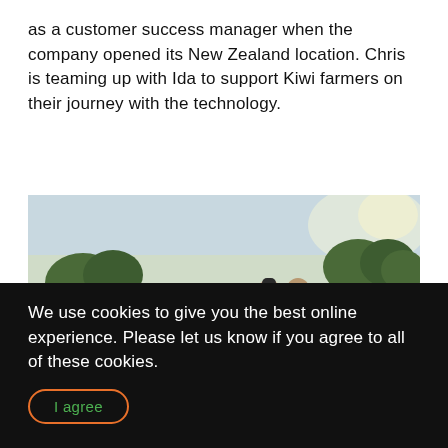as a customer success manager when the company opened its New Zealand location. Chris is teaming up with Ida to support Kiwi farmers on their journey with the technology.
[Figure (photo): Two people walking across a green farm field with cattle grazing in the background and trees on the horizon under a bright sky.]
We use cookies to give you the best online experience. Please let us know if you agree to all of these cookies.
I agree